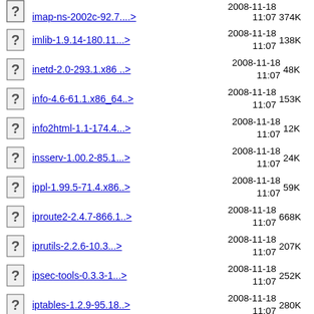imap-ns-2002c-92.7....> 2008-11-18 11:07 374K
imlib-1.9.14-180.11...> 2008-11-18 11:07 138K
inetd-2.0-293.1.x86 ..> 2008-11-18 11:07 48K
info-4.6-61.1.x86_64..> 2008-11-18 11:07 153K
info2html-1.1-174.4...> 2008-11-18 11:07 12K
insserv-1.00.2-85.1...> 2008-11-18 11:07 24K
ippl-1.99.5-71.4.x86..> 2008-11-18 11:07 59K
iproute2-2.4.7-866.1..> 2008-11-18 11:07 668K
iprutils-2.2.6-10.3...> 2008-11-18 11:07 207K
ipsec-tools-0.3.3-1...> 2008-11-18 11:07 252K
iptables-1.2.9-95.18..> 2008-11-18 11:07 280K
iputils-ss021109-147..> 2008-11-18 11:07 83K